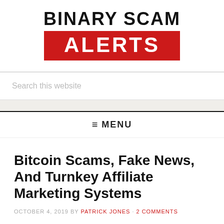[Figure (logo): Binary Scam Alerts logo with bold black text 'BINARY SCAM' above and white text 'ALERTS' on a red background banner]
Search this website
≡ MENU
Bitcoin Scams, Fake News, And Turnkey Affiliate Marketing Systems
OCTOBER 4, 2019 BY PATRICK JONES · 2 COMMENTS